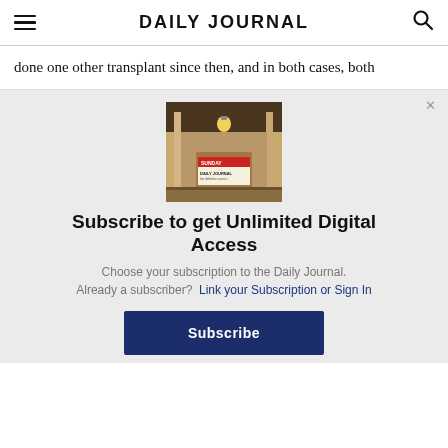DAILY JOURNAL
done one other transplant since then, and in both cases, both
[Figure (photo): A Daily Journal newspaper displayed on a porch/front door of a house with warm lighting]
Subscribe to get Unlimited Digital Access
Choose your subscription to the Daily Journal.
Already a subscriber?  Link your Subscription or Sign In
Subscribe